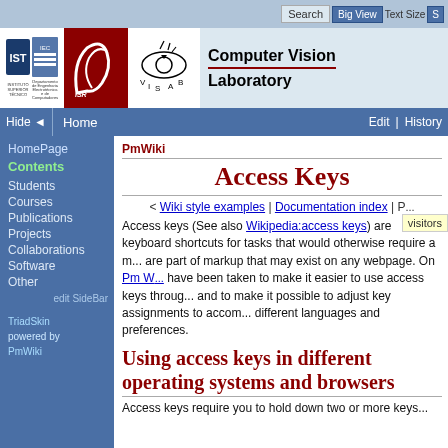Search | Big View | Text Size
[Figure (logo): Computer Vision Laboratory logo with IST and ISR logos and VISLAB eye graphic]
Hide | Home | Edit | History
Access Keys
< Wiki style examples | Documentation index | P...
visitors
Access keys (See also Wikipedia:access keys) are keyboard shortcuts for tasks that would otherwise require a mouse. They are part of markup that may exist on any webpage. On Pm W... have been taken to make it easier to use access keys through... and to make it possible to adjust key assignments to accom... different languages and preferences.
Using access keys in different operating systems and browsers
Access keys require you to hold down two or more keys...